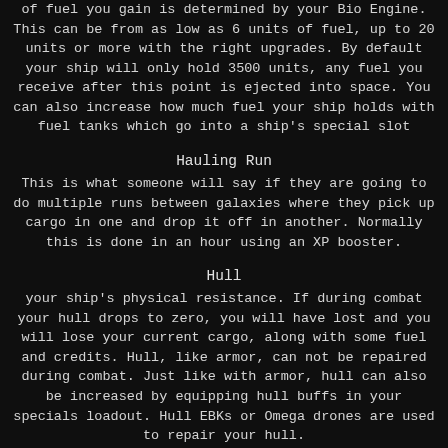of fuel you gain is determined by your Bio Engine. This can be from as low as 6 units of fuel, up to 20 units or more with the right upgrades. By default your ship will only hold 3500 units, any fuel you receive after this point is ejected into space. You can also increase how much fuel your ship holds with fuel tanks which go into a ship's special slot
Hauling Run
This is what someone will say if they are going to do multiple runs between galaxies where they pick up cargo in one and drop it off in another. Normally this is done in an hour using an XP booster.
Hull
your ship's physical resistance. If during combat your hull drops to zero, you will have lost and you will lose your current cargo, along with some fuel and credits. Hull, like armor, can not be repaired during combat. Just like with armor, hull can also be increased by equipping hull buffs in your specials loadout. Hull EBKs or Omega drones are used to repair your hull.
IP
Improvement points: This is what you get when you level. This IP can then be spent to upgrade your skills in